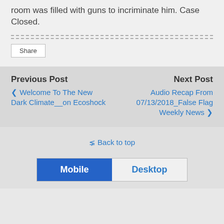room was filled with guns to incriminate him. Case Closed.
Share
Previous Post
‹ Welcome To The New Dark Climate__on Ecoshock
Next Post
Audio Recap From 07/13/2018_False Flag Weekly News ›
⇑ Back to top
Mobile  Desktop